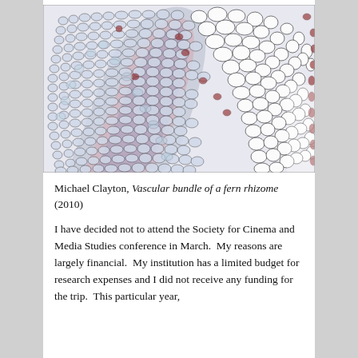[Figure (photo): Microscopic cross-section photograph of a fern rhizome showing vascular bundles, with a pattern of cells in blue, pink, dark red and white tones, forming concentric ring-like structures. By Michael Clayton.]
Michael Clayton, Vascular bundle of a fern rhizome (2010)
I have decided not to attend the Society for Cinema and Media Studies conference in March.  My reasons are largely financial.  My institution has a limited budget for research expenses and I did not receive any funding for the trip.  This particular year, I can't afford to spend a large sum of my data. The...